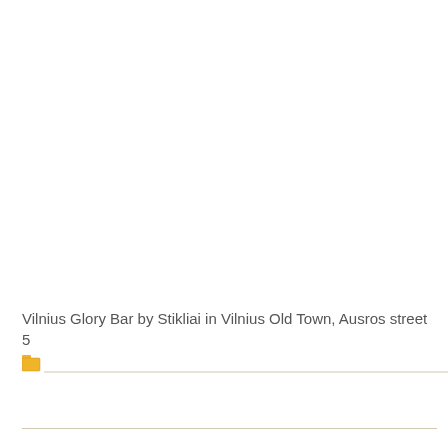Vilnius Glory Bar by Stikliai in Vilnius Old Town, Ausros street 5
[Figure (other): Folder icon with a horizontal divider line beneath it]